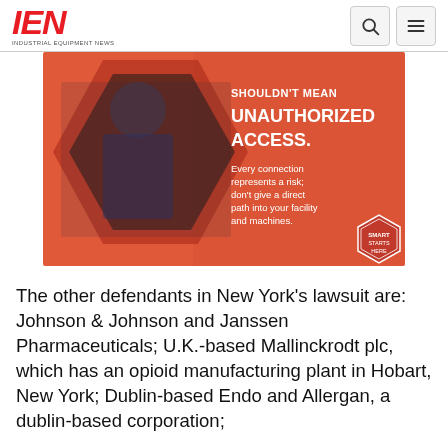IEN - INDUSTRIAL EQUIPMENT NEWS
[Figure (photo): IEN advertisement banner showing a worker at a machine with an orange background. Text reads: SHOULDN'T MEAN UNAUTHORIZED ACCESS. Every connection represents a risk; don't give a direct path into your facility and machines. SMART STARTS HERE.]
The other defendants in New York's lawsuit are: Johnson & Johnson and Janssen Pharmaceuticals; U.K.-based Mallinckrodt plc, which has an opioid manufacturing plant in Hobart, New York; Dublin-based Endo and Allergan, a dublin-based corporation;